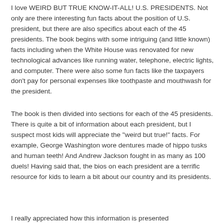I love WEIRD BUT TRUE KNOW-IT-ALL! U.S. PRESIDENTS. Not only are there interesting fun facts about the position of U.S. president, but there are also specifics about each of the 45 presidents. The book begins with some intriguing (and little known) facts including when the White House was renovated for new technological advances like running water, telephone, electric lights, and computer. There were also some fun facts like the taxpayers don't pay for personal expenses like toothpaste and mouthwash for the president.
The book is then divided into sections for each of the 45 presidents. There is quite a bit of information about each president, but I suspect most kids will appreciate the "weird but true!" facts. For example, George Washington wore dentures made of hippo tusks and human teeth! And Andrew Jackson fought in as many as 100 duels! Having said that, the bios on each president are a terrific resource for kids to learn a bit about our country and its presidents.
I really appreciated how this information is presented